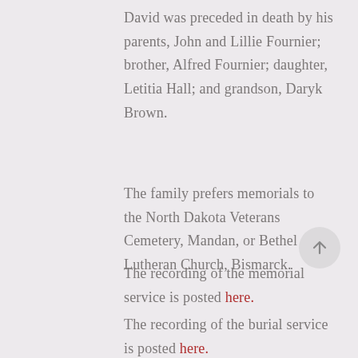David was preceded in death by his parents, John and Lillie Fournier; brother, Alfred Fournier; daughter, Letitia Hall; and grandson, Daryk Brown.
The family prefers memorials to the North Dakota Veterans Cemetery, Mandan, or Bethel Lutheran Church, Bismarck.
The recording of the memorial service is posted here.
The recording of the burial service is posted here.